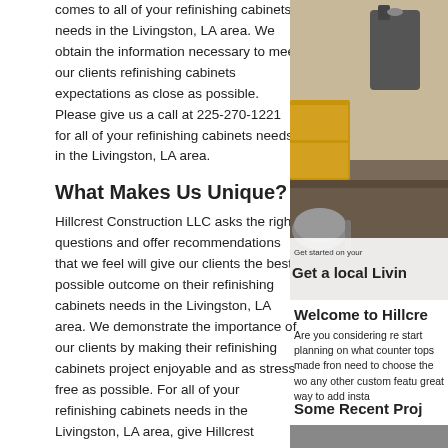comes to all of your refinishing cabinets needs in the Livingston, LA area. We obtain the information necessary to meet our clients refinishing cabinets expectations as close as possible. Please give us a call at 225-270-1221 for all of your refinishing cabinets needs in the Livingston, LA area.
What Makes Us Unique?
Hillcrest Construction LLC asks the right questions and offer recommendations that we feel will give our clients the best possible outcome on their refinishing cabinets needs in the Livingston, LA area. We demonstrate the importance of our clients by making their refinishing cabinets project enjoyable and as stress free as possible. For all of your refinishing cabinets needs in the Livingston, LA area, give Hillcrest Construction LLC a call at 225-270-1221.
Services
- Acoustic Ceiling Tiles - Install
- Addition to Existing Structure - Build
- Basement - Remodel
- Bathroom - Remodel
- Brick or Stone Siding: Install or Completely Replace
- Cabinets - Install
[Figure (photo): Kitchen photo showing countertops and appliances with overlay text]
Get started on your
Get a local Livin
Welcome to Hillcre
Are you considering re start planning on what counter tops made from need to choose the wo any other custom featu great way to add insta
Some Recent Proj
[Figure (photo): Recent project photo]